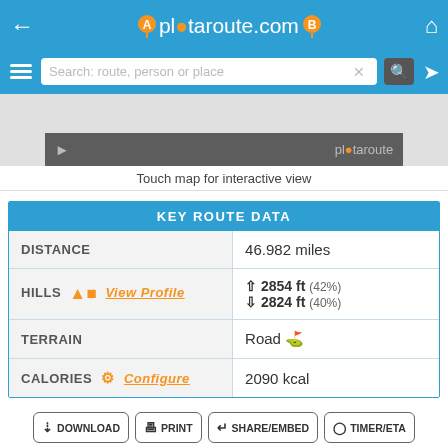plotaroute.com
[Figure (screenshot): Map thumbnail with plotaroute branding and play button]
Touch map for interactive view
| KEY ROUTE DATA |  |
| --- | --- |
| DISTANCE | 46.982 miles |
| HILLS  View Profile | ↑ 2854 ft (42%)
↓ 2824 ft (40%) |
| TERRAIN | Road 🚗 |
| CALORIES  Configure | 2090 kcal |
DOWNLOAD
PRINT
SHARE/EMBED
TIMER/ETA
EDIT IN ROUTE PLANNER
NAVIGATE